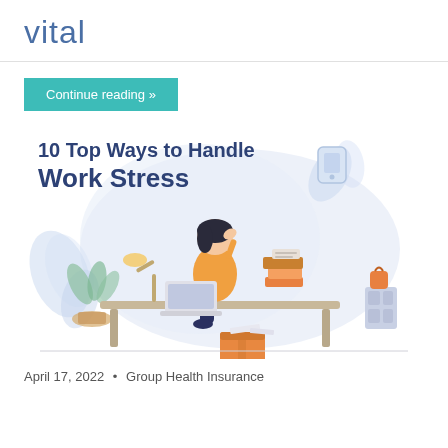vital
Continue reading »
10 Top Ways to Handle Work Stress
[Figure (illustration): Illustration of a stressed woman sitting at a desk with a laptop, surrounded by stacked boxes and files, with decorative leaves and a light blue blob background]
April 17, 2022 • Group Health Insurance